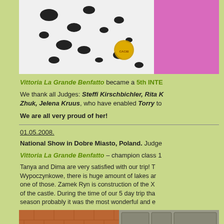[Figure (photo): Close-up photo of a Dalmatian dog with black spots on white fur, wearing a round gold medal/tag, against a pink background]
Vittoria La Grande Benfatto became a 5th INTE...
We thank all Judges: Steffi Kirschbichler, Rita R... Zhuk, Jelena Kruus, who have enabled Torry to...
We are all very proud of her!
01.05.2008.
National Show in Dobre Miasto, Poland. Judge...
Vittoria La Grande Benfatto – champion class 1...
Tanya and Dima are very satisfied with our trip! T... Wypoczynkowe, there is huge amount of lakes ar... one of those. Zamek Ryn is construction of the X... of the castle. During the time of our 5 day trip tha... season probably it was the most wonderful and e...
[Figure (photo): Photo of a castle building with brick and stone walls, arched windows, showing medieval architecture — Zamek Ryn]